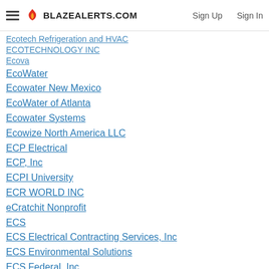BLAZEALERTS.COM | Sign Up | Sign In
Ecotech Refrigeration and HVAC
ECOTECHNOLOGY INC
Ecova
EcoWater
Ecowater New Mexico
EcoWater of Atlanta
Ecowater Systems
Ecowize North America LLC
ECP Electrical
ECP, Inc
ECPI University
ECR WORLD INC
eCratchit Nonprofit
ECS
ECS Electrical Contracting Services, Inc
ECS Environmental Solutions
ECS Federal, Inc
ECS Federal, Inc
ECS Federal, LLC
ECS Financial Services
ECS Recruitment Group Ltd
ECS Roofing Professionals
ECS Tuning